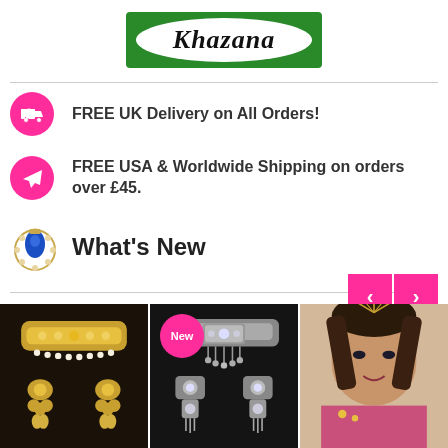[Figure (logo): Khazana brand logo: green rectangle with white oval and cursive black text 'Khazana']
FREE UK Delivery on All Orders!
FREE USA & Worldwide Shipping on orders over £45.
What's New
[Figure (photo): Gold choker necklace and earrings jewelry set on black background]
[Figure (photo): Silver/oxidized choker necklace and earrings jewelry set on dark background with New badge]
[Figure (photo): South Asian woman wearing bridal jewelry and headpiece]